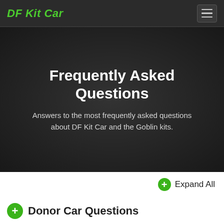DF Kit Car
Frequently Asked Questions
Answers to the most frequently asked questions about DF Kit Car and the Goblin kits.
Expand All
Donor Car Questions